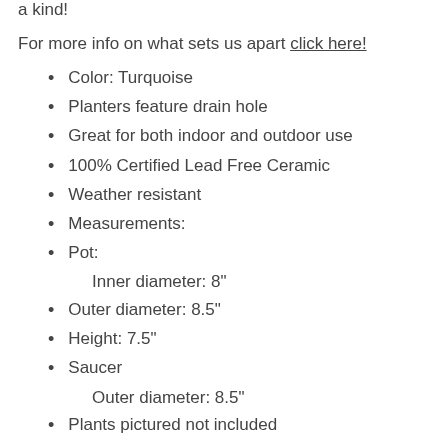a kind!
For more info on what sets us apart click here!
Color: Turquoise
Planters feature drain hole
Great for both indoor and outdoor use
100% Certified Lead Free Ceramic
Weather resistant
Measurements:
Pot:
Inner diameter: 8"
Outer diameter: 8.5"
Height: 7.5"
Saucer
Outer diameter: 8.5"
Plants pictured not included
Made in Mexico